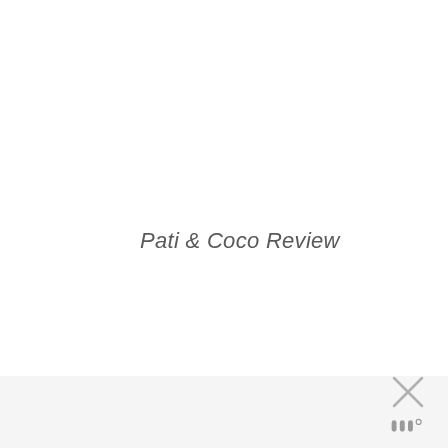Pati & Coco Review
[Figure (logo): X close icon above a stylized 'w' with degree symbol logo in gray, positioned in the bottom-right footer area]